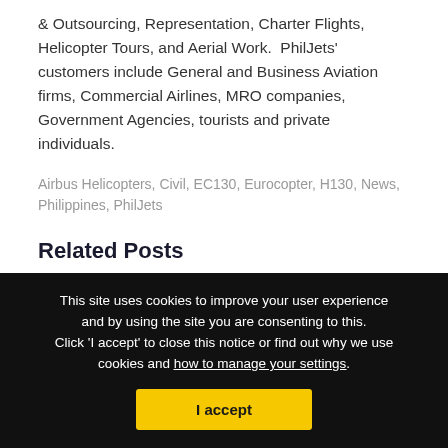& Outsourcing, Representation, Charter Flights, Helicopter Tours, and Aerial Work.  PhilJets' customers include General and Business Aviation firms, Commercial Airlines, MRO companies, Government Agencies, tourists and private individuals.
Airbus Helicopters, Civil, EC130, Eurocopter, H130, News, Philippines, PhilJets
Related Posts
US Helicopters selects Becker's digital audio system
Garmin achieves EASA approval for the GFC 600H flight control system for AS350
Helitune updates Rotor Track and Balance software for
This site uses cookies to improve your user experience and by using the site you are consenting to this. Click 'I accept' to close this notice or find out why we use cookies and how to manage your settings.